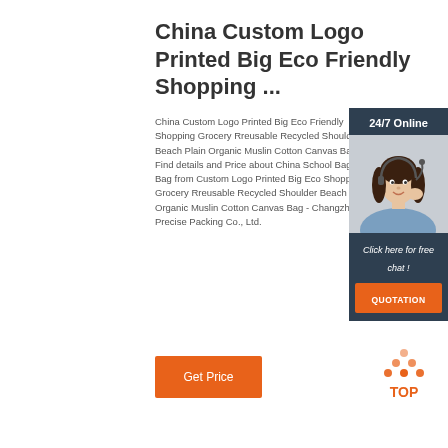China Custom Logo Printed Big Eco Friendly Shopping ...
China Custom Logo Printed Big Eco Friendly Shopping Grocery Rreusable Recycled Shoulder Beach Plain Organic Muslin Cotton Canvas Bag, Find details and Price about China School Bag, Tote Bag from Custom Logo Printed Big Eco Shopping Grocery Rreusable Recycled Shoulder Beach Plain Organic Muslin Cotton Canvas Bag - Changzhou Precise Packing Co., Ltd.
[Figure (illustration): Customer service chat widget showing a woman with headset, 24/7 Online label, Click here for free chat text, and QUOTATION button]
[Figure (illustration): Get Price orange button]
[Figure (illustration): TOP icon with orange dots forming an upward arrow]